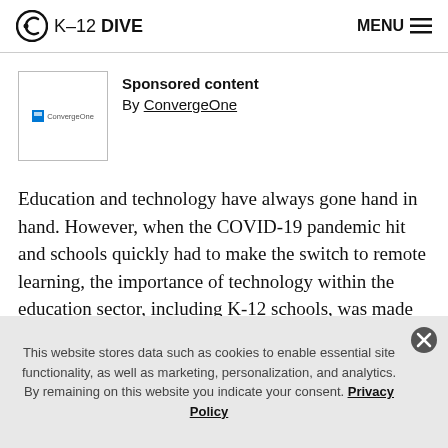K-12 DIVE   MENU
Sponsored content
By ConvergeOne
Education and technology have always gone hand in hand. However, when the COVID-19 pandemic hit and schools quickly had to make the switch to remote learning, the importance of technology within the education sector, including K-12 schools, was made even
This website stores data such as cookies to enable essential site functionality, as well as marketing, personalization, and analytics. By remaining on this website you indicate your consent. Privacy Policy